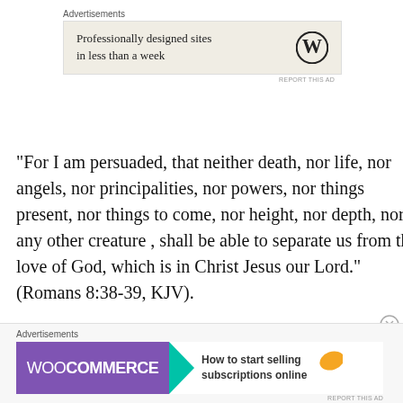Advertisements
[Figure (screenshot): WordPress ad banner: 'Professionally designed sites in less than a week' with WordPress logo]
REPORT THIS AD
“For I am persuaded, that neither death, nor life, nor angels, nor principalities, nor powers, nor things present, nor things to come, nor height, nor depth, nor any other creature , shall be able to separate us from the love of God, which is in Christ Jesus our Lord.” (Romans 8:38-39, KJV).
Advertisements
[Figure (screenshot): WooCommerce ad banner: 'How to start selling subscriptions online']